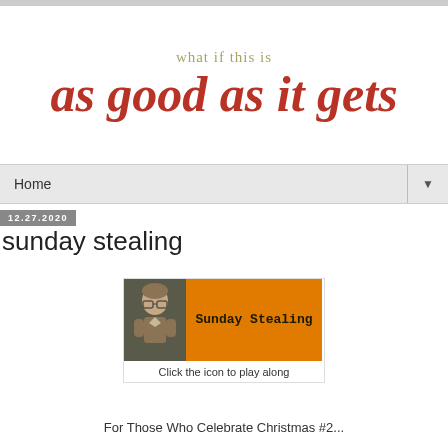what if this is
as good as it gets
Home ▼
12.27.2020
sunday stealing
[Figure (illustration): Sunday Stealing blog meme banner image with a cartoon person figure on the left against dark background and orange rectangle on the right with text 'Sunday Stealing' in bold monospace font. Caption below reads: Click the icon to play along]
Click the icon to play along
For Those Who Celebrate Christmas #2...